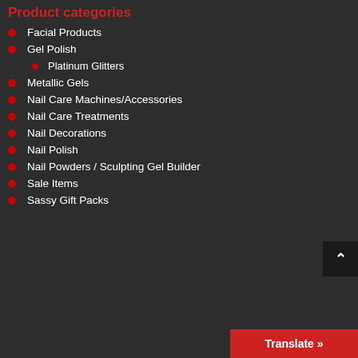Product categories
Facial Products
Gel Polish
Platinum Glitters
Metallic Gels
Nail Care Machines/Accessories
Nail Care Treatments
Nail Decorations
Nail Polish
Nail Powders / Sculpting Gel Builder
Sale Items
Sassy Gift Packs
Translate »